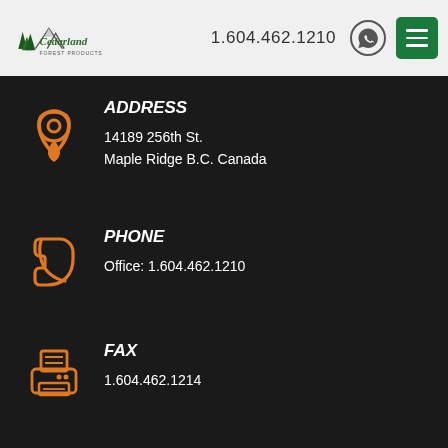Cedarland Forest Products | 1.604.462.1210
ADDRESS
14189 256th St.
Maple Ridge B.C. Canada
PHONE
Office: 1.604.462.1210
FAX
1.604.462.1214